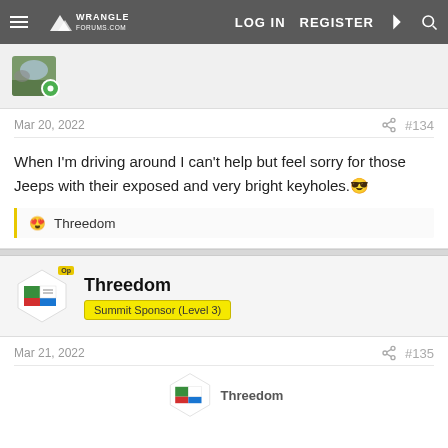Wrangler Forums — LOG IN  REGISTER
[Figure (screenshot): User avatar thumbnail photo showing a field/outdoor scene]
Mar 20, 2022   #134
When I'm driving around I can't help but feel sorry for those Jeeps with their exposed and very bright keyholes. 😎
😍 Threedom
Threedom
Summit Sponsor (Level 3)
Mar 21, 2022   #135